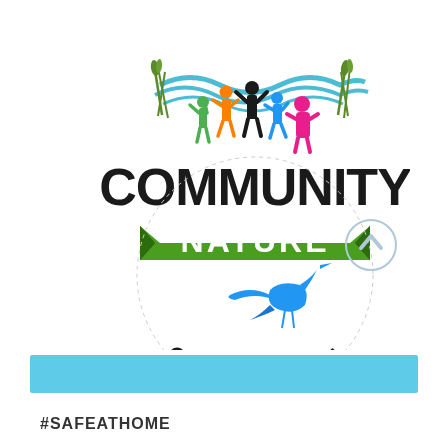[Figure (logo): Community Nature Connection logo featuring colorful human silhouettes (green, orange, black, blue, pink) with arms raised, blue wavy lines and green grass/reeds above, bold black text 'COMMUNITY' in large letters, a green banner ribbon with 'NATURE' in white text, a blue heron in flight, and arched 'CONNECTION' text below in black. A light blue/grey circular arrow icon appears to the right.]
[Figure (other): A solid sky-blue horizontal rectangle/banner strip]
#SAFEATHOME